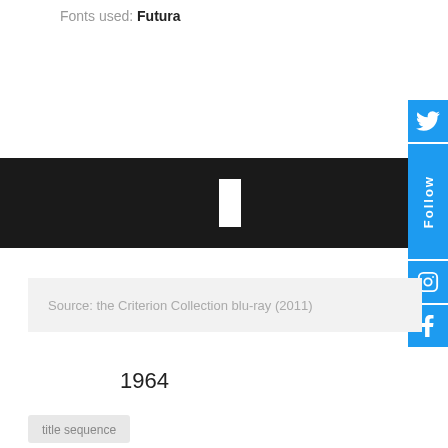Fonts used: Futura
[Figure (other): Black horizontal banner with white rectangle cutout in center]
[Figure (other): Social media sidebar with Twitter Follow button, Instagram icon, and Facebook icon]
Source: the Criterion Collection blu-ray (2011)
1964
title sequence